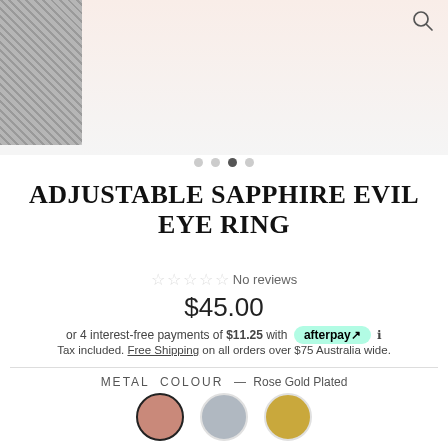[Figure (photo): Product page screenshot showing an adjustable sapphire evil eye ring on a hand, with a thumbnail image on the left and a search icon in the top right.]
ADJUSTABLE SAPPHIRE EVIL EYE RING
☆ ☆ ☆ ☆ ☆ No reviews
$45.00
or 4 interest-free payments of $11.25 with afterpay ℹ
Tax included. Free Shipping on all orders over $75 Australia wide.
METAL COLOUR — Rose Gold Plated
QUANTITY